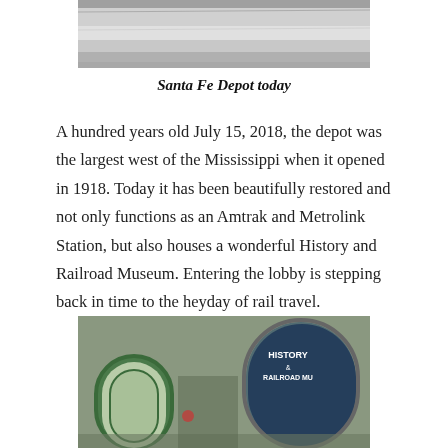[Figure (photo): Top portion of Santa Fe Depot building, showing roofline, black and white or faded color photo]
Santa Fe Depot today
A hundred years old July 15, 2018, the depot was the largest west of the Mississippi when it opened in 1918. Today it has been beautifully restored and not only functions as an Amtrak and Metrolink Station, but also houses a wonderful History and Railroad Museum. Entering the lobby is stepping back in time to the heyday of rail travel.
[Figure (photo): Exterior of Santa Fe Depot showing green arched windows and doors, with History & Railroad Museum sign visible in arched doorway on the right]